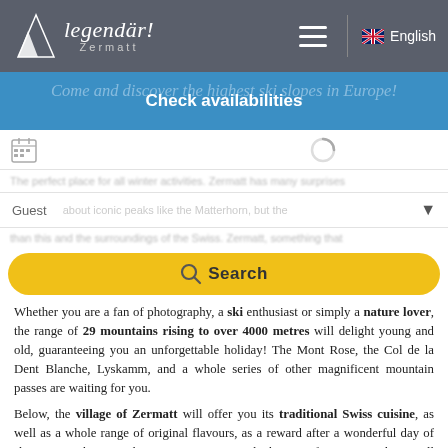legendär! Zermatt — English
Come and discover the highest ski slopes in Europe!
Check availabilities
[Figure (screenshot): Date picker calendar icon with loading spinner circle]
Guest
[Figure (screenshot): Yellow Search button with magnifying glass icon]
Whether you are a fan of photography, a ski enthusiast or simply a nature lover, the range of 29 mountains rising to over 4000 metres will delight young and old, guaranteeing you an unforgettable holiday! The Mont Rose, the Col de la Dent Blanche, Lyskamm, and a whole series of other magnificent mountain passes are waiting for you.
Below, the village of Zermatt will offer you its traditional Swiss cuisine, as well as a whole range of original flavours, as a reward after a wonderful day of skiing. Visit the Matterhorn Museum to trace the history of Zermatt, and you will find yourself surrounded by and